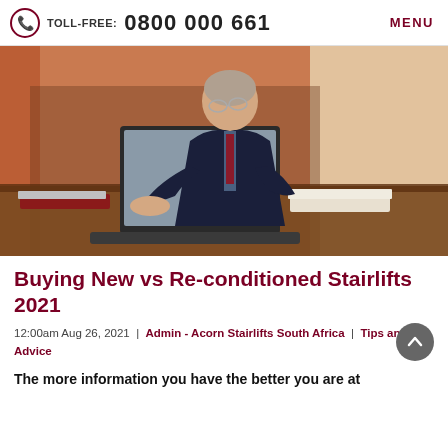TOLL-FREE: 0800 000 661   MENU
[Figure (photo): Elderly man in a dark suit sitting at a desk, typing on a laptop computer. Papers and books on the desk. Warm indoor lighting with curtains in the background.]
Buying New vs Re-conditioned Stairlifts 2021
12:00am Aug 26, 2021 | Admin - Acorn Stairlifts South Africa | Tips and Advice
The more information you have the better you are at